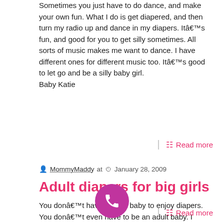Sometimes you just have to do dance, and make your own fun. What I do is get diapered, and then turn my radio up and dance in my diapers. Itâ€™s fun, and good for you to get silly sometimes. All sorts of music makes me want to dance. I have different ones for different music too. Itâ€™s good to let go and be a silly baby girl.
Baby Katie
Read more
MommyMaddy at  January 28, 2009
Adult diapers for big girls
You donâ€™t have to be a baby to enjoy diapers. You donâ€™t even have to be an adult baby. I would never give up my baby time permanently. I like being a big girl in adult diapers too though. Sometimes daddy and I play in diapers together. He doesnâ€™t get a lot of time to visit, so we try to play hard when he is here hehe.
Katie
Read more